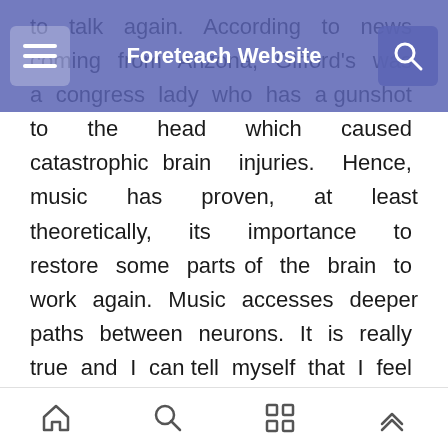Foreteach Website
to talk again. According to news coming from Arizona, Gifford's was a congress lady who has a gunshot to the head which caused catastrophic brain injuries. Hence, music has proven, at least theoretically, its importance to restore some parts of the brain to work again. Music accesses deeper paths between neurons. It is really true and I can tell myself that I feel happier the more I listen to music. Excellent forms of music can lead to better and peaceful lives for many of us. Moreover, music is quite helpful to make new connections of speech. It can fight against speech loss. This
home search grid up